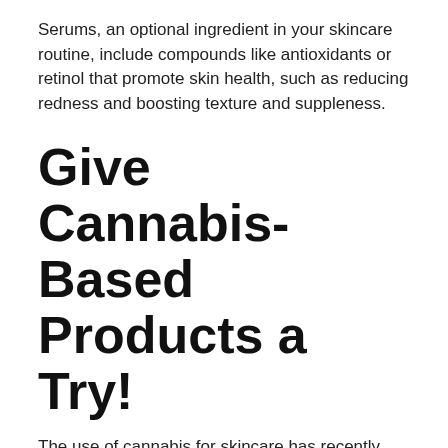Serums, an optional ingredient in your skincare routine, include compounds like antioxidants or retinol that promote skin health, such as reducing redness and boosting texture and suppleness.
Give Cannabis-Based Products a Try!
The use of cannabis for skincare has recently gained popularity. Since it has antioxidant and anti-inflammatory properties, CBD is the star component in this product. Fortunately, it is legal in Canada, and purchasing cannabis-based topical products is a breeze.